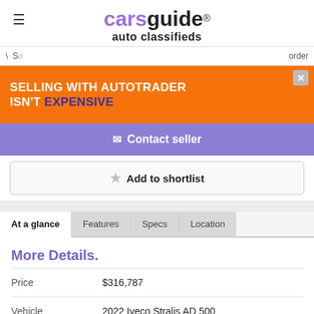carsguide® auto classifieds
[Figure (screenshot): Orange advertisement banner: SELLING WITH AUTOTRADER ISN'T EXPENSIVE with close button]
Contact seller
Add to shortlist
At a glance | Features | Specs | Location
More Details.
| Field | Value |
| --- | --- |
| Price | $316,787 |
| Vehicle | 2022 Iveco Stralis AD 500 (8x4) (WB6000) Standard |